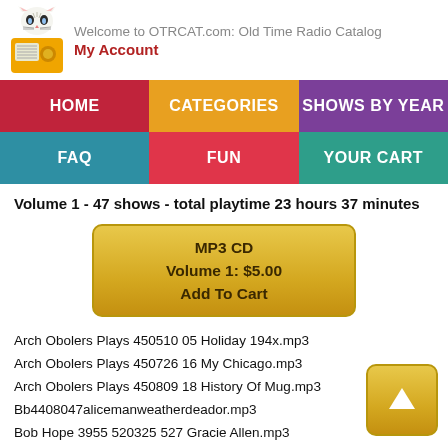Welcome to OTRCAT.com: Old Time Radio Catalog
My Account
HOME | CATEGORIES | SHOWS BY YEAR | FAQ | FUN | YOUR CART
Volume 1 - 47 shows - total playtime 23 hours 37 minutes
[Figure (other): Add to Cart button: MP3 CD Volume 1: $5.00 Add To Cart]
Arch Obolers Plays 450510 05 Holiday 194x.mp3
Arch Obolers Plays 450726 16 My Chicago.mp3
Arch Obolers Plays 450809 18 History Of Mug.mp3
Bb4408047alicemanweatherdeador.mp3
Bob Hope 3955 520325 527 Gracie Allen.mp3
Broadway Is My Beat 491119 Eugene Bullock Case.mp3
Broadway Is My Beat 510602 Francesca Brown Murder Case.mp3